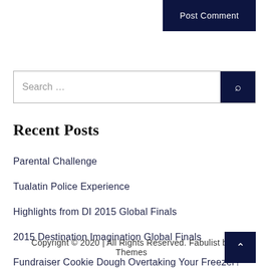Post Comment
Search …
Recent Posts
Parental Challenge
Tualatin Police Experience
Highlights from DI 2015 Global Finals
2015 Destination Imagination Global Finals
Fundraiser Cookie Dough Overtaking Your Freezer?
Copyright © 2020 | All Rights Reserved. Fabulist by Themes